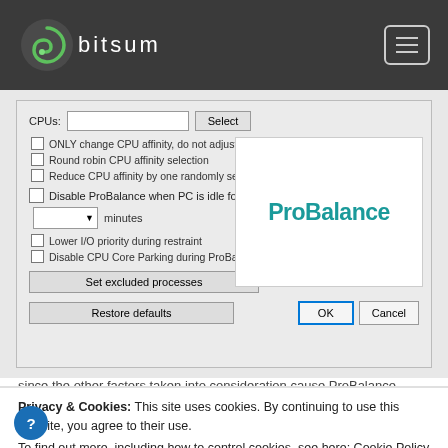bitsum
[Figure (screenshot): ProBalance settings dialog showing CPUs field with Select button, checkboxes for ONLY change CPU affinity, Round robin CPU affinity selection, Reduce CPU affinity by one randomly selected processor, Disable ProBalance when PC is idle for (with minutes dropdown), Lower I/O priority during restraint, Disable CPU Core Parking during ProBalance restraint, Set excluded processes button, Restore defaults button, OK and Cancel buttons, and ProBalance logo panel]
Privacy & Cookies: This site uses cookies. By continuing to use this website, you agree to their use.
To find out more, including how to control cookies, see here: Cookie Policy
Close and accept
since the other factors taken into consideration cause ProBalance